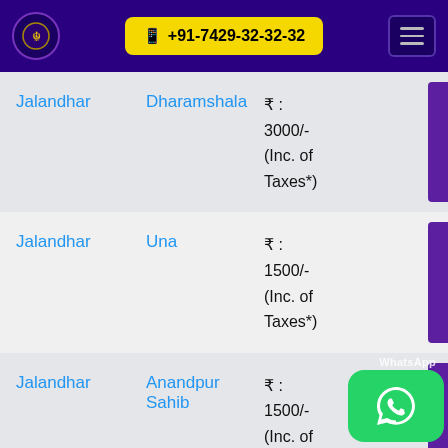+91-7429-32-32-32
| From | To | Price |  |  |
| --- | --- | --- | --- | --- |
| Jalandhar | Dharamshala | ₹ : 3000/- (Inc. of Taxes*) | – |  |
| Jalandhar | Una | ₹ : 1500/- (Inc. of Taxes*) | – |  |
| Jalandhar | Anandpur Sahib | ₹ : 1500/- (Inc. of Taxes*) | – |  |